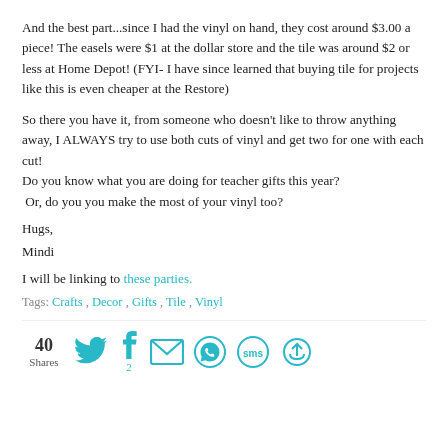And the best part...since I had the vinyl on hand, they cost around $3.00 a piece! The easels were $1 at the dollar store and the tile was around $2 or less at Home Depot! (FYI- I have since learned that buying tile for projects like this is even cheaper at the Restore)
So there you have it, from someone who doesn't like to throw anything away, I ALWAYS try to use both cuts of vinyl and get two for one with each cut!
Do you know what you are doing for teacher gifts this year? Or, do you you make the most of your vinyl too?
Hugs,
Mindi
I will be linking to these parties.
Tags: Crafts , Decor , Gifts , Tile , Vinyl
[Figure (infographic): Social sharing bar showing 40 Shares, Twitter icon, Facebook icon with count 2, Email icon, WhatsApp icon, SMS icon, and a share/recycle icon, all in teal color]